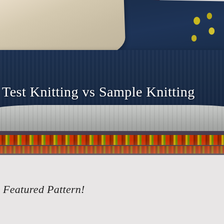[Figure (photo): Stack of colorful knitted garments/swatches piled on top of each other, including cream, dark navy blue with yellow floral motifs, a dark red/burgundy piece with orange trim, a grey ribbed piece, and a bottom piece with red and yellow colorwork pattern. The title 'Test Knitting vs Sample Knitting' appears overlaid in white serif text.]
Test Knitting vs Sample Knitting
Featured Pattern!